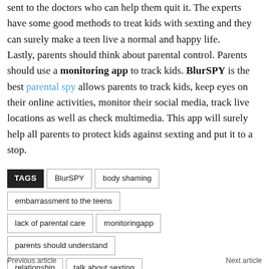Kids who are involved in sexting should be treated carefully and sent to the doctors who can help them quit it. The experts have some good methods to treat kids with sexting and they can surely make a teen live a normal and happy life. Lastly, parents should think about parental control. Parents should use a monitoring app to track kids. BlurSPY is the best parental spy allows parents to track kids, keep eyes on their online activities, monitor their social media, track live locations as well as check multimedia. This app will surely help all parents to protect kids against sexting and put it to a stop.
TAGS: BlurSPY | body shaming | embarrassment to the teens | lack of parental care | monitoringapp | parents should understand | relationship | talk about sexting
Previous article | Next article